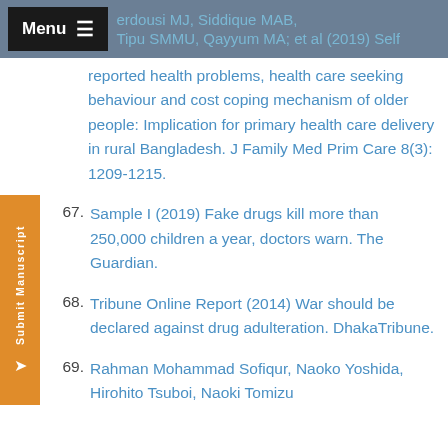Menu | Ferdousi MJ, Siddique MAB, Tipu SMMU, Qayyum MA; et al (2019) Self reported health problems, health care seeking behaviour and cost coping mechanism of older people: Implication for primary health care delivery in rural Bangladesh. J Family Med Prim Care 8(3): 1209-1215.
67. Sample I (2019) Fake drugs kill more than 250,000 children a year, doctors warn. The Guardian.
68. Tribune Online Report (2014) War should be declared against drug adulteration. DhakaTribune.
69. Rahman Mohammad Sofiqur, Naoko Yoshida, Hirohito Tsuboi, Naoki Tomizu